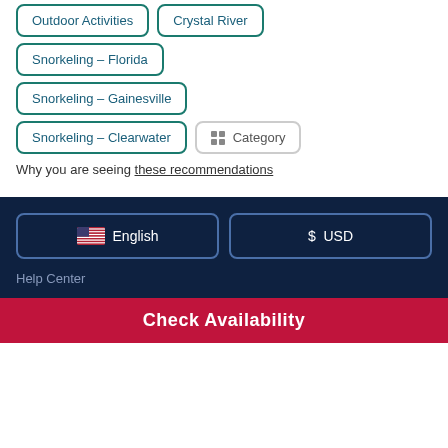Outdoor Activities
Crystal River
Snorkeling - Florida
Snorkeling - Gainesville
Snorkeling - Clearwater
Category
Why you are seeing these recommendations
English
$ USD
Help Center
Check Availability